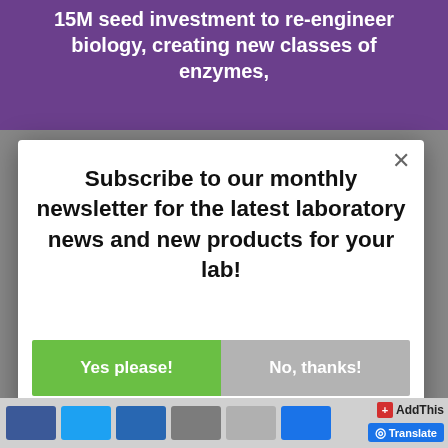15M seed investment to re-engineer biology, creating new classes of enzymes,
Subscribe to our monthly newsletter for the latest laboratory news and new products for your lab!
Yes please!
No, thanks!
AddThis
Translate